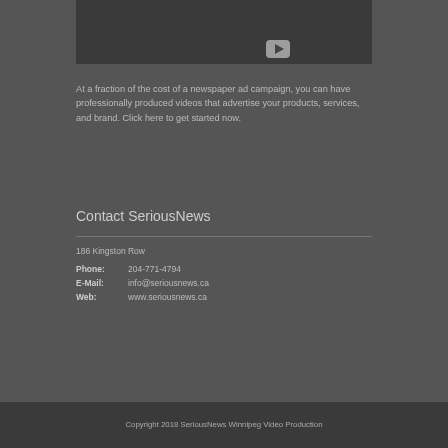[Figure (screenshot): Dark video thumbnail with a YouTube-style play button in the bottom-right corner]
At a fraction of the cost of a newspaper ad campaign, you can have professionally produced videos that advertise your products, services, and brand. Click here to get started now.
Contact SeriousNews
186 Kingston Row
Phone: 204-771-4794
E-Mail: info@seriousnews.ca
Web: www.seriousnews.ca
Copyright 2018 SeriousNews Winnipeg Video Production